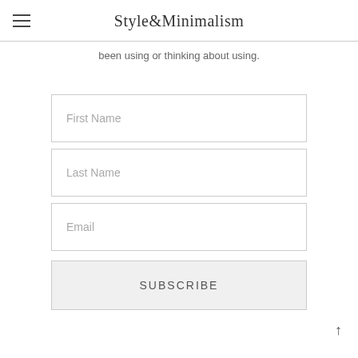Style&Minimalism
been using or thinking about using.
First Name
Last Name
Email
SUBSCRIBE